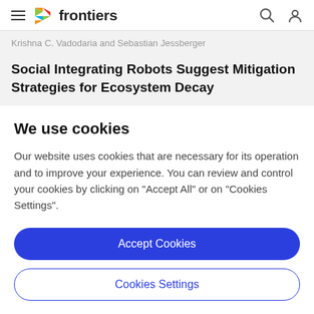frontiers
Krishna C. Vadodaria and Sebastian Jessberger
Social Integrating Robots Suggest Mitigation Strategies for Ecosystem Decay
We use cookies
Our website uses cookies that are necessary for its operation and to improve your experience. You can review and control your cookies by clicking on "Accept All" or on "Cookies Settings".
Accept Cookies
Cookies Settings